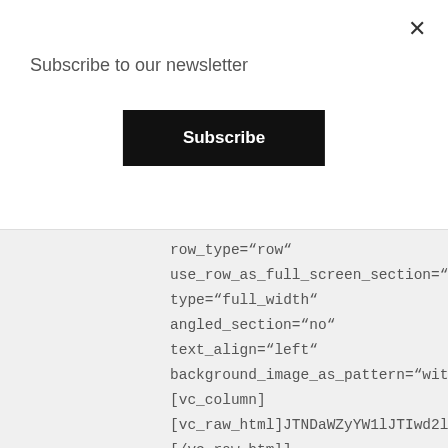Subscribe to our newsletter
Subscribe
×
row_type="row"
use_row_as_full_screen_section="no"
type="full_width"
angled_section="no"
text_align="left"
background_image_as_pattern="without
[vc_column]
[vc_raw_html]JTNDaWZyYW1lJTIwd2lkdGc
[/vc_raw_html]
[vc_column_text]Transcript[/vc_column_
[vc_column_text